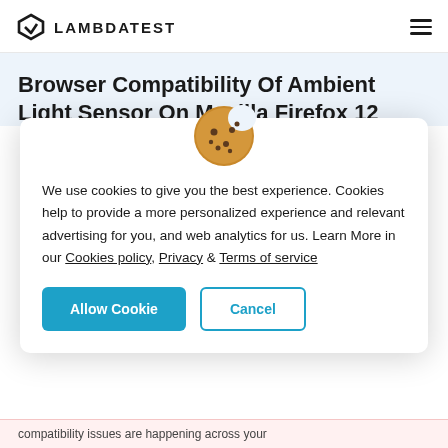LAMBDATEST
Browser Compatibility Of Ambient Light Sensor On Mozilla Firefox 12
We use cookies to give you the best experience. Cookies help to provide a more personalized experience and relevant advertising for you, and web analytics for us. Learn More in our Cookies policy, Privacy & Terms of service
Allow Cookie  Cancel
compatibility issues are happening across your